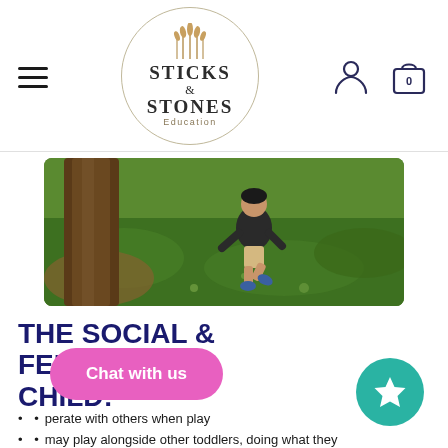[Figure (logo): Sticks & Stones Education circular logo with wheat/grass illustration]
[Figure (photo): Child running on green grass near a tree trunk, outdoor play scene]
THE SOCIAL & FEELING CHILD:
may not cooperate with others when playing
may play alongside other toddlers, doing what they do but without seeming to interact (parallel play)